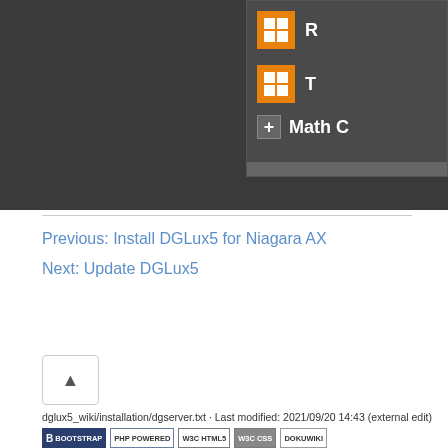[Figure (screenshot): Partial screenshot of a dark-themed UI panel showing orange icons with 'R' and 'T' text, 'Math C' label with a plus button, and a scrollbar at the bottom. Background is dark gray.]
Previous: Install DGLux5 for Niagara AX
Next: Update DGLux5
[Figure (other): Scroll-to-top button with an upward caret/chevron icon, bordered box.]
dglux5_wiki/installation/dgserver.txt · Last modified: 2021/09/20 14:43 (external edit)
[Figure (other): Row of badge icons: Bootstrap, PHP Powered, W3C HTML5, W3C CSS, DokuWiki]